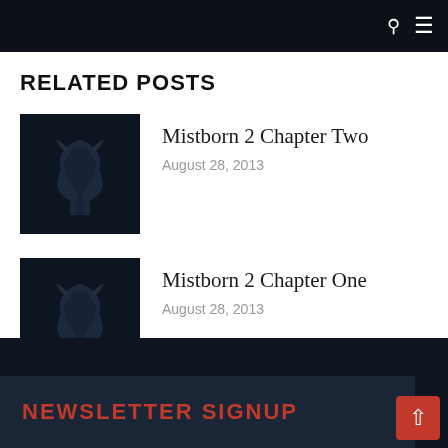Navigation bar with search and menu icons
RELATED POSTS
[Figure (logo): Dark background thumbnail with a stylized dragon/flame logo watermark in dark blue-gray tones]
Mistborn 2 Chapter Two
August 28, 2013
[Figure (logo): Dark background thumbnail with a stylized dragon/flame logo watermark in dark blue-gray tones]
Mistborn 2 Chapter One
August 28, 2013
NEWSLETTER SIGNUP